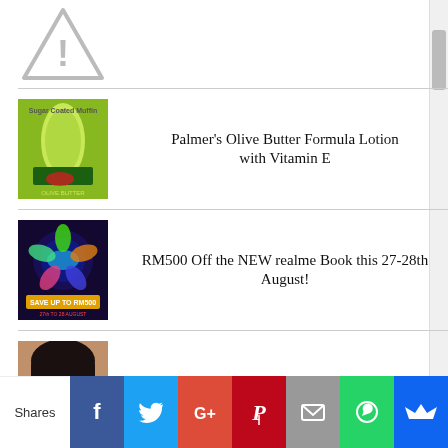[Figure (illustration): Warning triangle icon with exclamation mark, grayed out]
Palmer's Olive Butter Formula Lotion with Vitamin E
RM500 Off the NEW realme Book this 27-28th August!
FOTD : Pink Doll
Shares